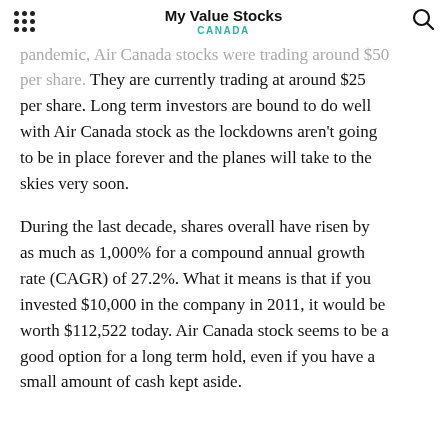My Value Stocks CANADA
pandemic, Air Canada stocks were trading around $50 per share. They are currently trading at around $25 per share. Long term investors are bound to do well with Air Canada stock as the lockdowns aren't going to be in place forever and the planes will take to the skies very soon.
During the last decade, shares overall have risen by as much as 1,000% for a compound annual growth rate (CAGR) of 27.2%. What it means is that if you invested $10,000 in the company in 2011, it would be worth $112,522 today. Air Canada stock seems to be a good option for a long term hold, even if you have a small amount of cash kept aside.